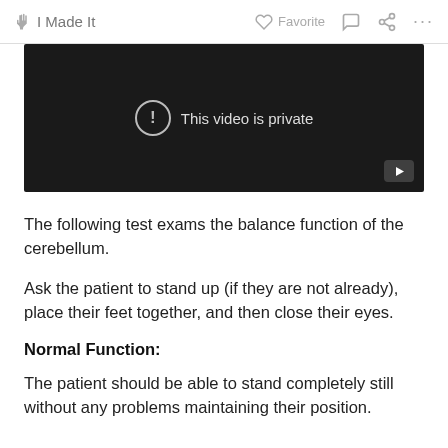✋ I Made It    ♡ Favorite    💬    🔗    ...
[Figure (screenshot): Dark video player showing 'This video is private' message with exclamation icon and a play button in the bottom-right corner.]
The following test exams the balance function of the cerebellum.
Ask the patient to stand up (if they are not already), place their feet together, and then close their eyes.
Normal Function:
The patient should be able to stand completely still without any problems maintaining their position.